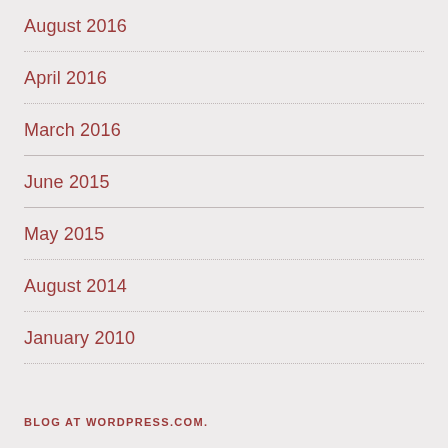August 2016
April 2016
March 2016
June 2015
May 2015
August 2014
January 2010
BLOG AT WORDPRESS.COM.